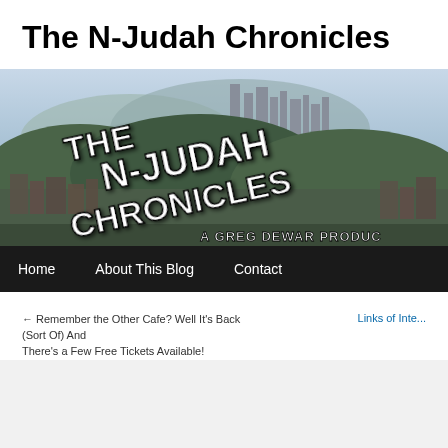The N-Judah Chronicles
[Figure (photo): Website banner/header image for The N-Judah Chronicles blog. Shows a panoramic city skyline of San Francisco with large bold white text overlaid reading 'THE N-JUDAH CHRONICLES' at an angle, and smaller text below reading 'A GREG DEWAR PRODUC...' (partially cut off). Below the image is a black navigation bar with links: Home, About This Blog, Contact.]
← Remember the Other Cafe? Well It's Back (Sort Of) And There's a Few Free Tickets Available!
Links of Inte...